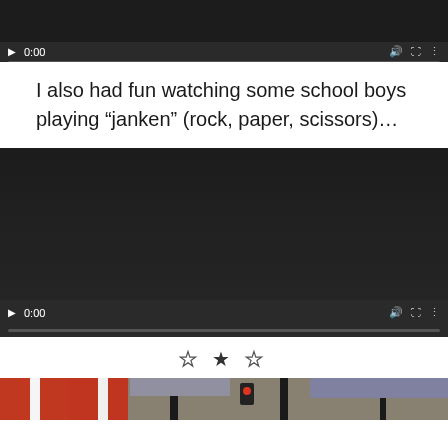[Figure (screenshot): Video player (partial top view) showing dark screen with play controls bar showing 0:00 timestamp and progress bar]
I also had fun watching some school boys playing “janken” (rock, paper, scissors)…
[Figure (screenshot): Video player showing dark screen with play controls bar showing 0:00 timestamp and progress bar]
[Figure (other): Three stars decoration: empty star, filled star, empty star]
[Figure (photo): Partial photo showing Japanese flags and street scene]